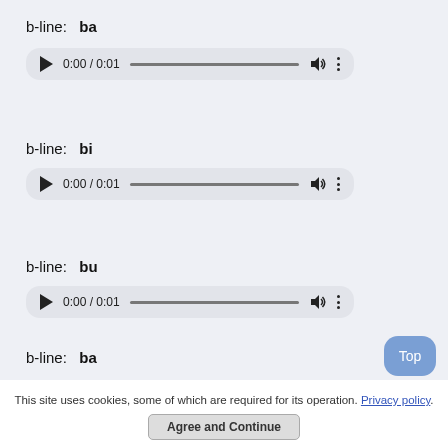b-line: ba
[Figure (other): Audio player showing 0:00 / 0:01 with play button, progress bar, volume and more icons]
b-line: bi
[Figure (other): Audio player showing 0:00 / 0:01 with play button, progress bar, volume and more icons]
b-line: bu
[Figure (other): Audio player showing 0:00 / 0:01 with play button, progress bar, volume and more icons]
b-line: ba (partial, cut off)
This site uses cookies, some of which are required for its operation. Privacy policy.
Agree and Continue